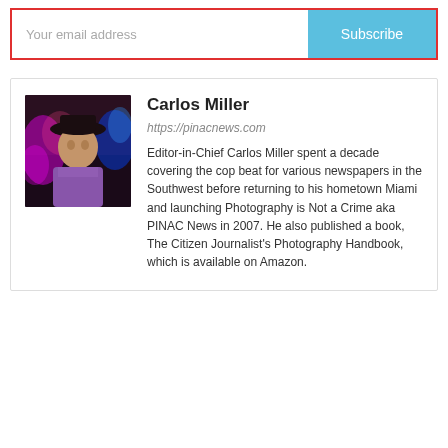[Figure (screenshot): Email subscription form with input field showing placeholder 'Your email address' and a blue 'Subscribe' button, inside a red-bordered box]
[Figure (photo): Author photo of Carlos Miller - man wearing hat with colorful lights in background]
Carlos Miller
https://pinacnews.com
Editor-in-Chief Carlos Miller spent a decade covering the cop beat for various newspapers in the Southwest before returning to his hometown Miami and launching Photography is Not a Crime aka PINAC News in 2007. He also published a book, The Citizen Journalist's Photography Handbook, which is available on Amazon.